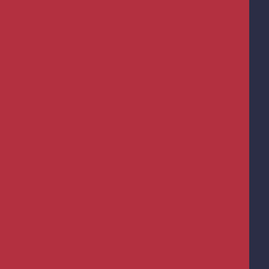http://bit.ly/eVV3Sj
Facebook Wants to Supply Your Internet Dri...
http://bit.ly/gNgcpQ
Red Light Loophole for Traffic Scofflaws
http://bit.ly/gqRJek
Woman upset with DMV faces charges - Em...
http://bit.ly/goMZhW
Virginia DMV Condones Beating, Not Eating...
http://bit.ly/gopocZ
IMMIGRATION & BORDER NEWS
States take on illegal immigration while Feds...
http://yhoo.it/i9q0Pz
FAQ About the State Legislators for Legal Im...
http://yhoo.it/fHYyeD
HEALTH NEWS
Mass Animal Deaths Continue: Hundreds O...
http://bit.ly/fMjarM
US agency warns of liver damage with Sand...
http://bit.ly/fJ5Ai8
'Toxic' gas blamed for drinking water coming...
http://bit.ly/ez0bZh